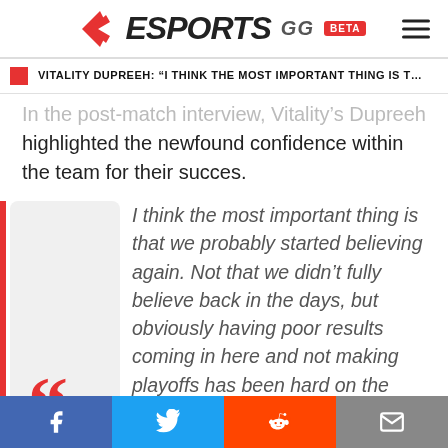ESPORTS.GG BETA
VITALITY DUPREEH: “I THINK THE MOST IMPORTANT THING IS T…
In the post-match interview, Vitality’s Dupreeh highlighted the newfound confidence within the team for their succes.
I think the most important thing is that we probably started believing again. Not that we didn’t fully believe back in the days, but obviously having poor results coming in here and not making playoffs has been hard on the team. We’ve lacked confidence and
Facebook Twitter Reddit Email